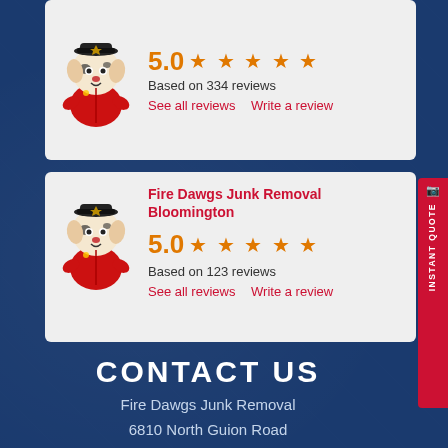[Figure (illustration): Fire Dawgs mascot - dalmatian dog in firefighter hat and red jacket, card 1]
5.0 ★ ★ ★ ★ ★
Based on 334 reviews
See all reviews   Write a review
Fire Dawgs Junk Removal Bloomington
5.0 ★ ★ ★ ★ ★
Based on 123 reviews
See all reviews   Write a review
CONTACT US
Fire Dawgs Junk Removal
6810 North Guion Road
Indianapolis, IN 46268
📞 1-800-211-DAWG